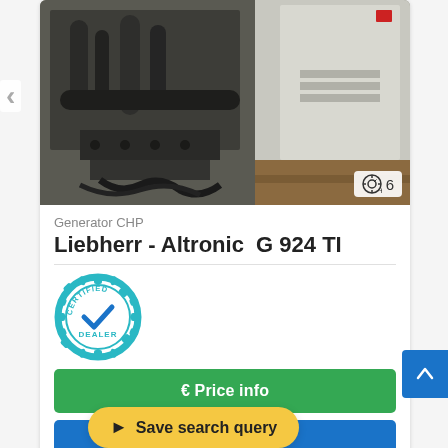[Figure (photo): Industrial generator/CHP unit photo showing engine machinery and electrical cabinet]
Generator CHP
Liebherr - Altronic  G 924 TI
[Figure (logo): Certified Dealer badge with checkmark]
€ Price info
📞 Call
Leipzig, Germany
(dealership lo…
Save search query